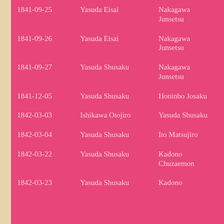| Date | Player (Black) | Player (White) |
| --- | --- | --- |
| 1841-09-25 | Yasuda Eisai | Nakagawa Junsetsu |
| 1841-09-26 | Yasuda Eisai | Nakagawa Junsetsu |
| 1841-09-27 | Yasuda Shusaku | Nakagawa Junsetsu |
| 1841-12-05 | Yasuda Shusaku | Honinbo Josaku |
| 1842-03-03 | Ishikawa Otojiro | Yasuda Shusaku |
| 1842-03-04 | Yasuda Shusaku | Ito Matsujiro |
| 1842-03-22 | Yasuda Shusaku | Kadono Chuzaemon |
| 1842-03-23 | Yasuda Shusaku | Kadono... |